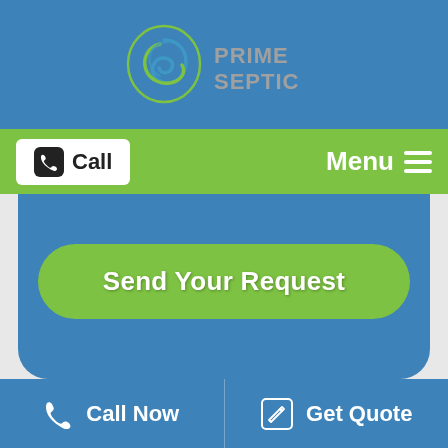[Figure (logo): Prime Septic logo with circular swirl icon and text 'PRIME SEPTIC' in gray on blue background]
[Figure (screenshot): Green navigation bar with white 'Call' button on left and white 'Menu' text with hamburger icon on right]
Send Your Request
Call Now
Get Quote